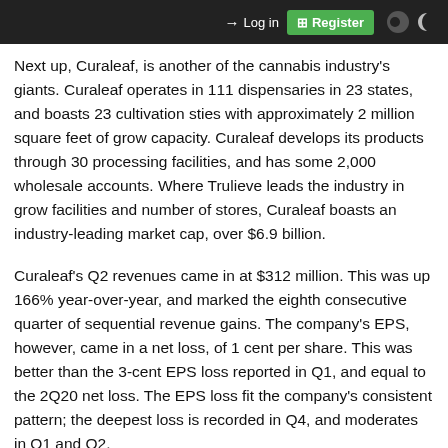Login | Register
Next up, Curaleaf, is another of the cannabis industry's giants. Curaleaf operates in 111 dispensaries in 23 states, and boasts 23 cultivation sties with approximately 2 million square feet of grow capacity. Curaleaf develops its products through 30 processing facilities, and has some 2,000 wholesale accounts. Where Trulieve leads the industry in grow facilities and number of stores, Curaleaf boasts an industry-leading market cap, over $6.9 billion.
Curaleaf's Q2 revenues came in at $312 million. This was up 166% year-over-year, and marked the eighth consecutive quarter of sequential revenue gains. The company's EPS, however, came in a net loss, of 1 cent per share. This was better than the 3-cent EPS loss reported in Q1, and equal to the 2Q20 net loss. The EPS loss fit the company's consistent pattern; the deepest loss is recorded in Q4, and moderates in Q1 and Q2.